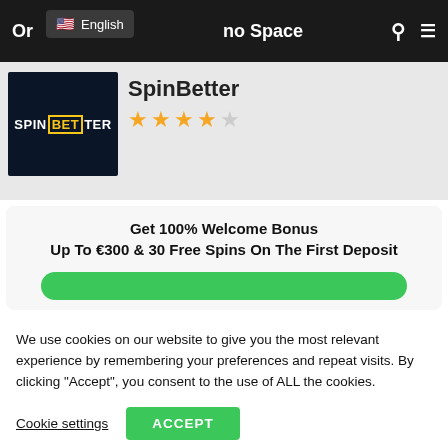Or... no Space | English
[Figure (logo): SpinBetter casino logo - dark navy background with SPINBETTER text, BET highlighted in gold border]
SpinBetter
★★★★☆ (4 stars out of 5)
Get 100% Welcome Bonus Up To €300 & 30 Free Spins On The First Deposit
We use cookies on our website to give you the most relevant experience by remembering your preferences and repeat visits. By clicking "Accept", you consent to the use of ALL the cookies.
Cookie settings
ACCEPT